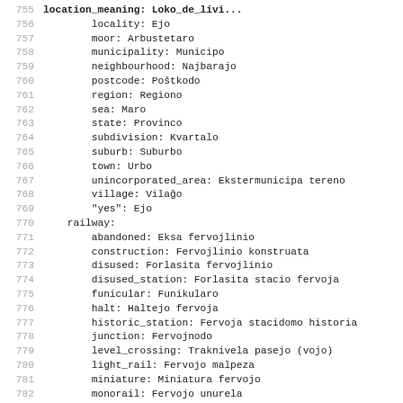755  [truncated/bold line]
756      locality: Ejo
757      moor: Arbustetaro
758      municipality: Municipo
759      neighbourhood: Najbarajo
760      postcode: Poštkodo
761      region: Regiono
762      sea: Maro
763      state: Provincо
764      subdivision: Kvartalo
765      suburb: Suburbo
766      town: Urbo
767      unincorporated_area: Ekstermunicipa tereno
768      village: Vilaĝo
769      "yes": Ejo
770  railway:
771      abandoned: Eksa fervojlinio
772      construction: Fervojlinio konstruata
773      disused: Forlasita fervojlinio
774      disused_station: Forlasita stacio fervoja
775      funicular: Funikularo
776      halt: Haltejo fervoja
777      historic_station: Fervoja stacidomo historia
778      junction: Fervojnodo
779      level_crossing: Traknivela pasejo (vojo)
780      light_rail: Fervojo malpeza
781      miniature: Miniatura fervojo
782      monorail: Fervojo unurela
783      narrow_gauge: Fervojo etšpura
784      platform: Kajo fervoja
785      preserved: Fervojo historia
786      proposed: Fervojo proponita
787      spur: Branĉtrako